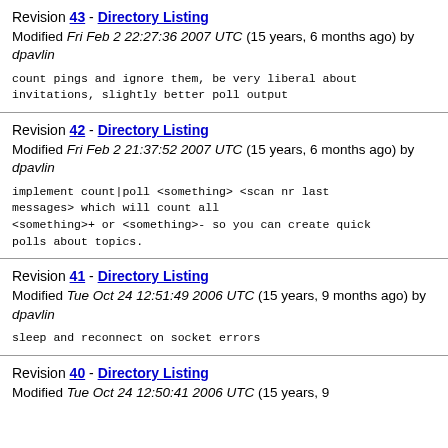Revision 43 - Directory Listing
Modified Fri Feb 2 22:27:36 2007 UTC (15 years, 6 months ago) by dpavlin
count pings and ignore them, be very liberal about invitations, slightly better poll output
Revision 42 - Directory Listing
Modified Fri Feb 2 21:37:52 2007 UTC (15 years, 6 months ago) by dpavlin
implement count|poll <something> <scan nr last messages> which will count all <something>+ or <something>- so you can create quick polls about topics.
Revision 41 - Directory Listing
Modified Tue Oct 24 12:51:49 2006 UTC (15 years, 9 months ago) by dpavlin
sleep and reconnect on socket errors
Revision 40 - Directory Listing
Modified Tue Oct 24 12:50:41 2006 UTC (15 years, 9